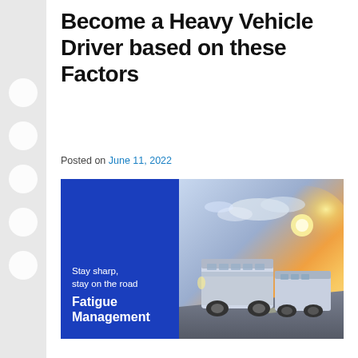Become a Heavy Vehicle Driver based on these Factors
Posted on June 11, 2022
[Figure (photo): Promotional image split into two halves: left side is a dark blue panel with white text reading 'Stay sharp, stay on the road Fatigue Management'; right side shows a photograph of large buses/coaches driving on a road at sunset with bright sunlight and cloudy sky.]